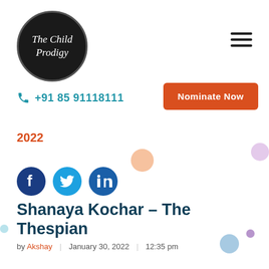[Figure (logo): The Child Prodigy circular logo — black circle with white italic text reading 'The Child Prodigy']
[Figure (other): Hamburger menu icon — three horizontal dark lines]
+91 85 91118111
Nominate Now
2022
[Figure (other): Social media icons: Facebook (dark blue circle with f), Twitter (light blue circle with bird), LinkedIn (dark blue circle with in)]
Shanaya Kochar – The Thespian
by Akshay   January 30, 2022   12:35 pm